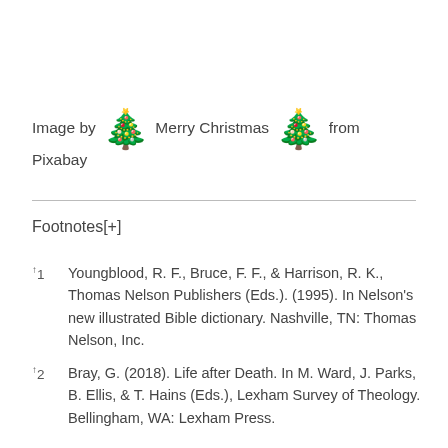Image by 🎄 Merry Christmas 🎄 from Pixabay
Footnotes[+]
↑1 Youngblood, R. F., Bruce, F. F., & Harrison, R. K., Thomas Nelson Publishers (Eds.). (1995). In Nelson's new illustrated Bible dictionary. Nashville, TN: Thomas Nelson, Inc.
↑2 Bray, G. (2018). Life after Death. In M. Ward, J. Parks, B. Ellis, & T. Hains (Eds.), Lexham Survey of Theology. Bellingham, WA: Lexham Press.